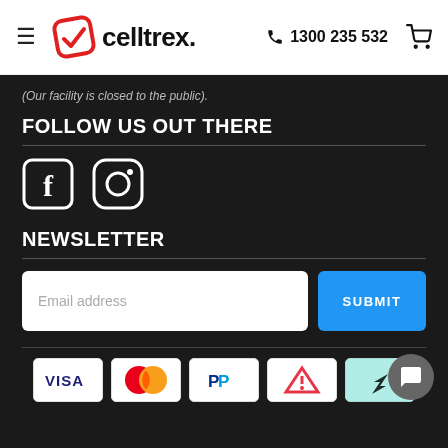celltrex. 1300 235 532
(Our facility is closed to the public).
FOLLOW US OUT THERE
[Figure (other): Facebook and Instagram social media icons in white on dark background]
NEWSLETTER
Email address
SUBMIT
[Figure (other): Payment method icons: Visa, Mastercard, PayPal, Klarna/split payment, Afterpay]